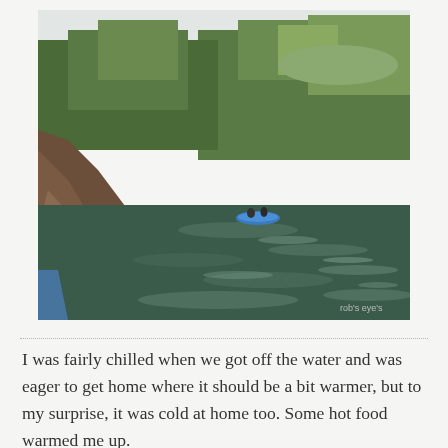[Figure (photo): Outdoor river/lake scene photographed from water level. A large rock formation is visible on the left side. Dense green trees and bushes line both banks in the background. Two people in a blue inflatable raft are visible in the middle distance on the calm, dark water. The sky is hazy white. A watermark 'rob's eye's' appears in the lower right corner.]
I was fairly chilled when we got off the water and was eager to get home where it should be a bit warmer, but to my surprise, it was cold at home too. Some hot food warmed me up.